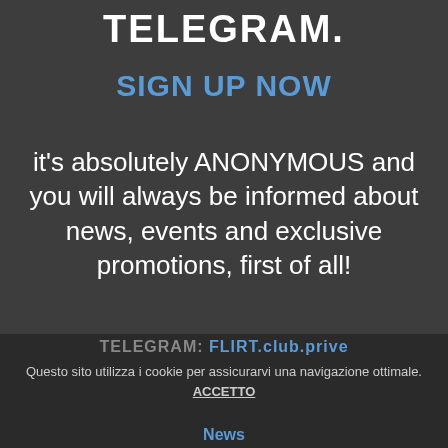TELEGRAM.
SIGN UP NOW
it's absolutely ANONYMOUS and you will always be informed about news, events and exclusive promotions, first of all!
TELEGRAM: FLIRT.club.prive
Questo sito utilizza i cookie per assicurarvi una navigazione ottimale. ACCETTO
News